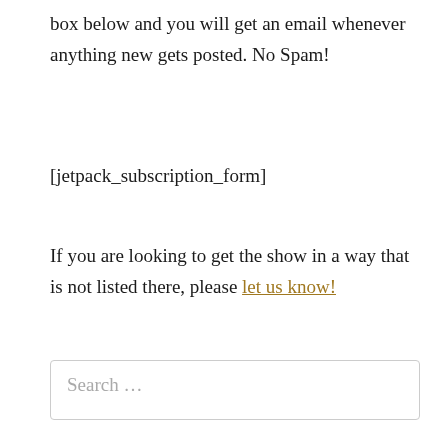box below and you will get an email whenever anything new gets posted. No Spam!
[jetpack_subscription_form]
If you are looking to get the show in a way that is not listed there, please let us know!
Search …